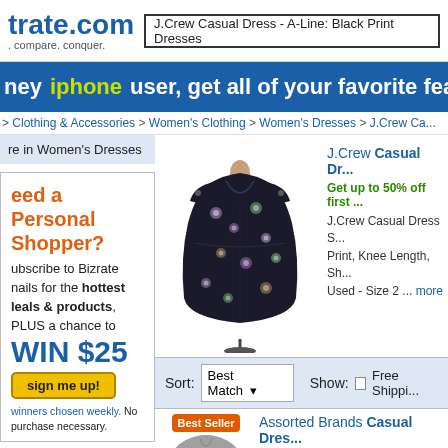trate.com . compare. conquer. | J.Crew Casual Dress - A-Line: Black Print Dresses
hey iphone user, get all of your favorite feat
> Clothing & Accessories > Women's Clothing > Women's Dresses > J.Crew Ca...
re in Women's Dresses
[Figure (photo): J.Crew casual dress on mannequin - black floral print A-line dress with short sleeves and V-neck]
J.Crew Casual Dr... Get up to 50% off first ... J.Crew Casual Dress S... Print, Knee Length, Sh... Used - Size 2 ... more
Sort: Best Match ▾   Show: □ Free Shippi...
eed a Personal Shopper? ubscribe to Bizrate nails for the hottest leals & products, PLUS a chance to WIN $25 sign me up! winners chosen weekly. No purchase necessary.
[Figure (photo): Assorted Brands casual dress - grey, partially visible]
Assorted Brands Casual Dres... Up to 50% Off Your First Order Code: N... Assorted Brands Casual Dress Size: ... Dresses - used. 100% Polyester, A-Li... Crew Neck, Knee Length, Sleeveless